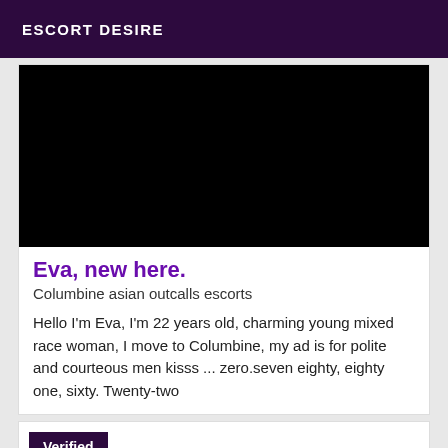ESCORT DESIRE
[Figure (photo): Black image placeholder for escort listing photo]
Eva, new here.
Columbine asian outcalls escorts
Hello I'm Eva, I'm 22 years old, charming young mixed race woman, I move to Columbine, my ad is for polite and courteous men kisss ... zero.seven eighty, eighty one, sixty. Twenty-two
Verified